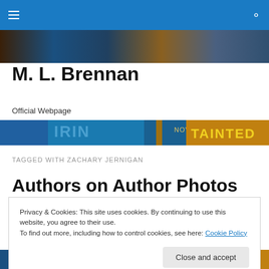M. L. Brennan — Official Webpage navigation bar
[Figure (photo): Book cover strip at top of page, showing partial author book covers in dark blue, brown and teal tones]
M. L. Brennan
Official Webpage
[Figure (photo): Second book cover strip showing text 'IRIN' and 'NOVEL' and 'TAINTED' in yellow lettering on dark background]
TAGGED WITH ZACHARY JERNIGAN
Authors on Author Photos
Privacy & Cookies: This site uses cookies. By continuing to use this website, you agree to their use.
To find out more, including how to control cookies, see here: Cookie Policy
[Figure (photo): Partial view of an author photo with blue background at bottom of page, also showing partial book cover strip with IRIN and NOVEL text]